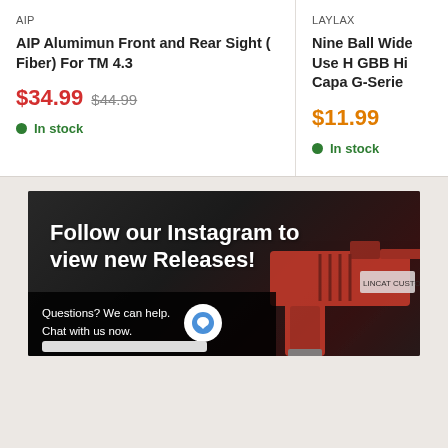AIP
AIP Alumimun Front and Rear Sight (Fiber) For TM 4.3
$34.99  $44.99
In stock
LAYLAX
Nine Ball Wide Use H GBB Hi Capa G-Serie
$11.99
In stock
[Figure (photo): Instagram promotional banner with red airsoft gun in background and chat widget overlay reading 'Follow our Instagram to view new Releases!']